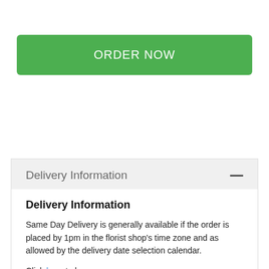ORDER NOW
To Order by phone, call 254-629-2111
Delivery Information
Delivery Information
Same Day Delivery is generally available if the order is placed by 1pm in the florist shop's time zone and as allowed by the delivery date selection calendar.
Click here to know more